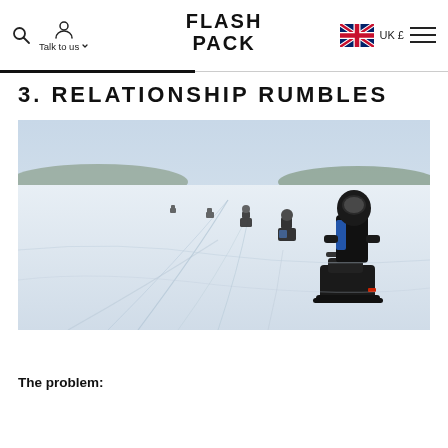Flash Pack | Talk to us | UK £
3. RELATIONSHIP RUMBLES
[Figure (photo): A group of snowmobilers riding in a line across a vast snowy frozen lake or plain, with a pale winter sky and distant hills on the horizon. The closest rider is in the foreground wearing a black helmet and blue jacket.]
The problem: